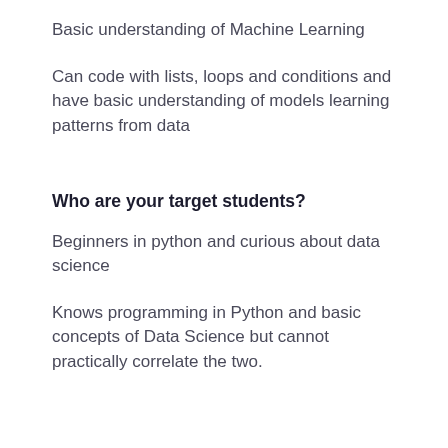Basic understanding of Machine Learning
Can code with lists, loops and conditions and have basic understanding of models learning patterns from data
Who are your target students?
Beginners in python and curious about data science
Knows programming in Python and basic concepts of Data Science but cannot practically correlate the two.